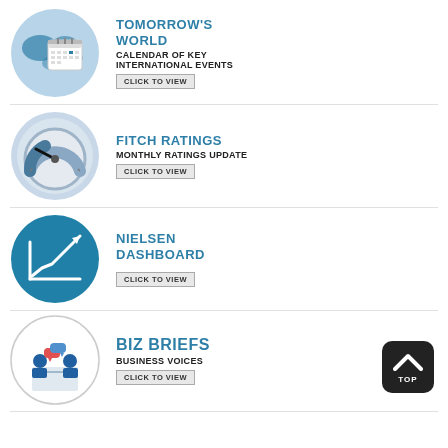[Figure (illustration): Circle icon with world map and calendar image]
TOMORROW'S WORLD
CALENDAR OF KEY INTERNATIONAL EVENTS
CLICK TO VIEW
[Figure (illustration): Circle icon with gauge/meter dial]
FITCH RATINGS
MONTHLY RATINGS UPDATE
CLICK TO VIEW
[Figure (illustration): Teal circle with upward trend line chart icon]
NIELSEN DASHBOARD
CLICK TO VIEW
[Figure (illustration): Circle with two business people at table with speech bubbles]
BIZ BRIEFS
BUSINESS VOICES
CLICK TO VIEW
[Figure (illustration): Black rounded square with up chevron arrow and TOP text]
[Figure (illustration): Partial circle icon with blue stars]
THE CUSTOMER